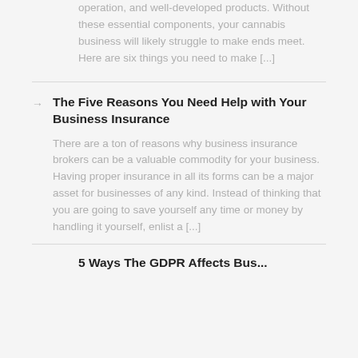operation, and well-developed products. Without these essential components, your cannabis business will likely struggle to make ends meet. Here are six things you need to make [...]
The Five Reasons You Need Help with Your Business Insurance
There are a ton of reasons why business insurance brokers can be a valuable commodity for your business. Having proper insurance in all its forms can be a major asset for businesses of any kind. Instead of thinking that you are going to save yourself any time or money by handling it yourself, enlist a [...]
5 Ways The GDPR Affects Bus...